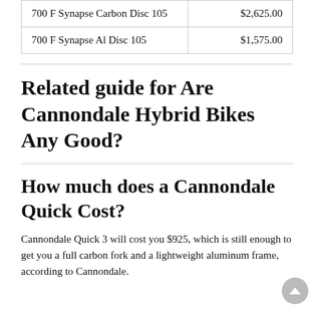|  |  |
| --- | --- |
| 700 F Synapse Carbon Disc 105 | $2,625.00 |
| 700 F Synapse Al Disc 105 | $1,575.00 |
Related guide for Are Cannondale Hybrid Bikes Any Good?
How much does a Cannondale Quick Cost?
Cannondale Quick 3 will cost you $925, which is still enough to get you a full carbon fork and a lightweight aluminum frame, according to Cannondale.